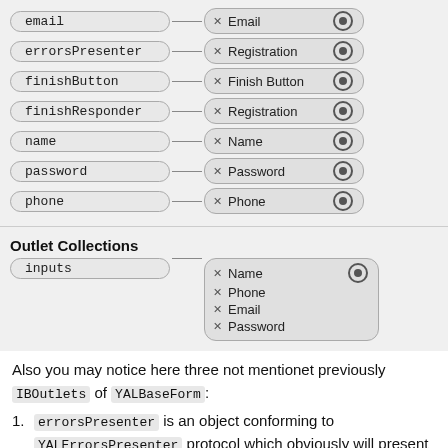[Figure (screenshot): Xcode Interface Builder Outlets diagram showing outlet connections: email→Email, errorsPresenter→Registration, finishButton→Finish Button, finishResponder→Registration, name→Name, password→Password, phone→Phone. Outlet Collections section showing inputs→(Name, Phone, Email, Password).]
Outlet Collections
Also you may notice here three not mentionet previously IBOutlets of YALBaseForm:
errorsPresenter is an object conforming to YALErrorsPresenter protocol which obviously will present any NSErrors recieved from form, in this concrete case it's